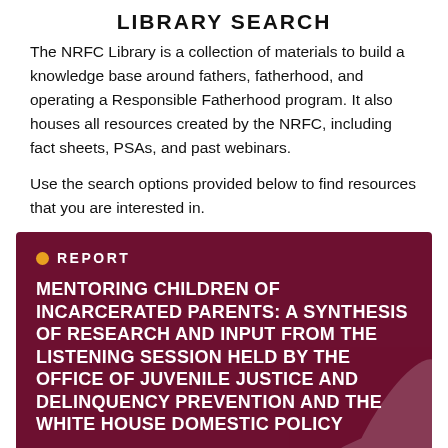LIBRARY SEARCH
The NRFC Library is a collection of materials to build a knowledge base around fathers, fatherhood, and operating a Responsible Fatherhood program. It also houses all resources created by the NRFC, including fact sheets, PSAs, and past webinars.
Use the search options provided below to find resources that you are interested in.
[Figure (infographic): Dark red/maroon card with an orange dot label 'REPORT' and a bold white title: 'MENTORING CHILDREN OF INCARCERATED PARENTS: A SYNTHESIS OF RESEARCH AND INPUT FROM THE LISTENING SESSION HELD BY THE OFFICE OF JUVENILE JUSTICE AND DELINQUENCY PREVENTION AND THE WHITE HOUSE DOMESTIC POLICY']